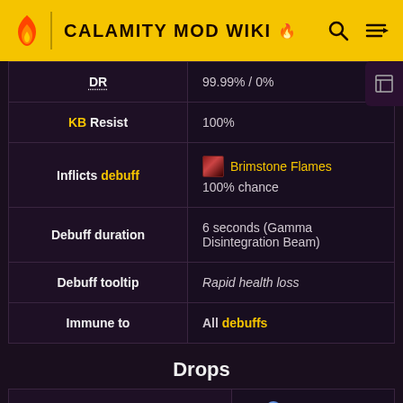CALAMITY MOD WIKI
| Attribute | Value |
| --- | --- |
| DR | 99.99% / 0% |
| KB Resist | 100% |
| Inflicts debuff | Brimstone Flames 100% chance |
| Debuff duration | 6 seconds (Gamma Disintegration Beam) |
| Debuff tooltip | Rapid health loss |
| Immune to | All debuffs |
Drops
| Coins | Amount |
| --- | --- |
| Coins | 15 |